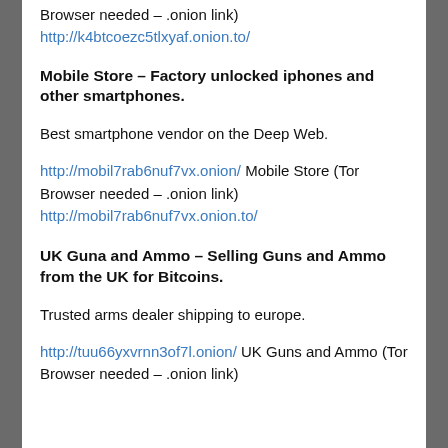Browser needed – .onion link)
http://k4btcoezc5tlxyaf.onion.to/
Mobile Store – Factory unlocked iphones and other smartphones.
Best smartphone vendor on the Deep Web.
http://mobil7rab6nuf7vx.onion/ Mobile Store (Tor Browser needed – .onion link)
http://mobil7rab6nuf7vx.onion.to/
UK Guna and Ammo – Selling Guns and Ammo from the UK for Bitcoins.
Trusted arms dealer shipping to europe.
http://tuu66yxvrnn3of7l.onion/ UK Guns and Ammo (Tor Browser needed – .onion link)